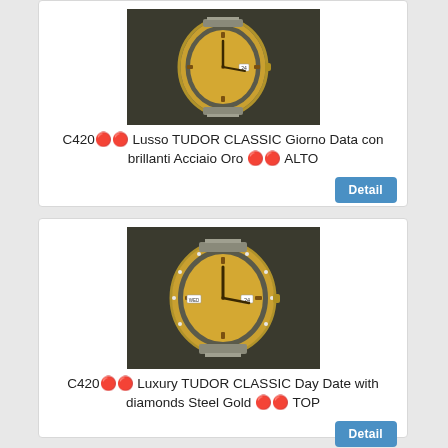[Figure (photo): Photo of a luxury Tudor Classic watch with gold dial and steel/gold bracelet, top portion partially visible]
C420🔴🔴 Lusso TUDOR CLASSIC Giorno Data con brillanti Acciaio Oro 🔴🔴 ALTO
[Figure (photo): Photo of a luxury Tudor Classic watch with gold dial and steel/gold bracelet, full watch face visible]
C420🔴🔴 Luxury TUDOR CLASSIC Day Date with diamonds Steel Gold 🔴🔴 TOP
[Figure (photo): Photo of a luxury Tudor Classic watch, partially visible at bottom of page]